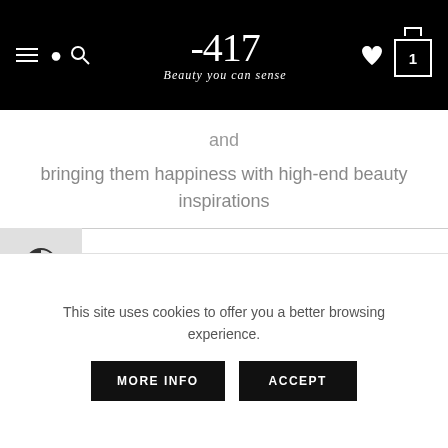-417 Beauty you can sense
and
bringing them happiness with high-end beauty inspirations
BEAUTY TIPS
This site uses cookies to offer you a better browsing experience.
MORE INFO   ACCEPT